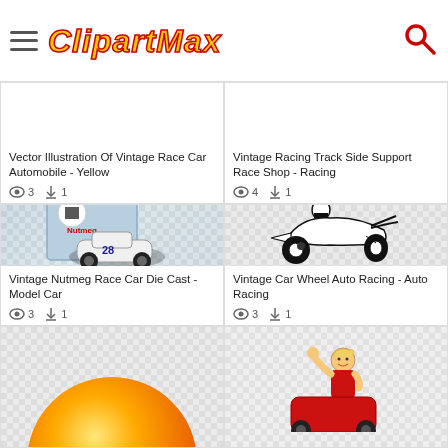ClipartMax navigation header
Vector Illustration Of Vintage Race Car Automobile - Yellow
👁 3  ⬇ 1
Vintage Racing Track Side Support Race Shop - Racing
👁 4  ⬇ 1
[Figure (photo): Vintage Nutmeg race car die cast model car toy in box]
Vintage Nutmeg Race Car Die Cast - Model Car
👁 3  ⬇ 1
[Figure (illustration): Vintage open wheel race car black and white illustration with driver]
Vintage Car Wheel Auto Racing - Auto Racing
👁 3  ⬇ 1
[Figure (illustration): Orange circular shape clipart partially visible]
[Figure (illustration): Cartoon racing driver waving with car, partially visible]